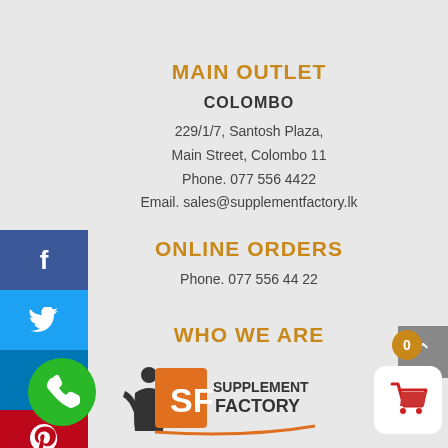MAIN OUTLET
COLOMBO
229/1/7, Santosh Plaza,
Main Street, Colombo 11
Phone. 077 556 4422
Email. sales@supplementfactory.lk
ONLINE ORDERS
Phone. 077 556 44 22
WHO WE ARE
[Figure (logo): Supplement Factory logo with SF monogram and figure icon]